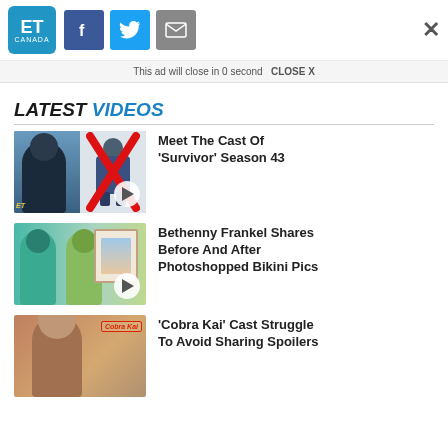ET Canada — social share bar with Facebook, Twitter, Email buttons and close X
This ad will close in 0 second   CLOSE X
LATEST VIDEOS
[Figure (screenshot): Thumbnail for 'Meet The Cast Of Survivor Season 43' video — two images side by side, one crossed out with red X]
Meet The Cast Of 'Survivor' Season 43
[Figure (screenshot): Thumbnail for 'Bethenny Frankel Shares Before And After Photoshopped Bikini Pics' — two women standing in front of a framed photo]
Bethenny Frankel Shares Before And After Photoshopped Bikini Pics
[Figure (screenshot): Thumbnail for 'Cobra Kai Cast Struggle To Avoid Sharing Spoilers' — person with Cobra Kai logo]
'Cobra Kai' Cast Struggle To Avoid Sharing Spoilers